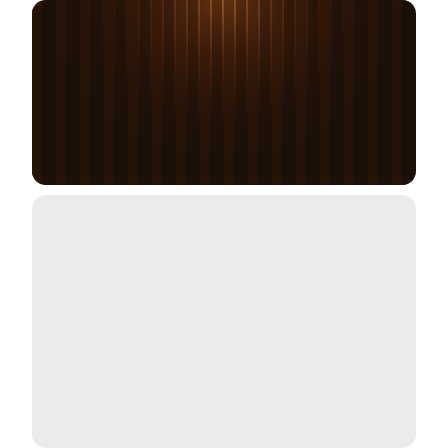[Figure (photo): Dark nighttime or dusk photograph showing a wooden fence or slatted structure with dim warm light glowing from above, creating a dark, moody scene. The fence slats are vertical and closely spaced.]
Gulf coast sunset beautiful
[Figure (photo): Empty light gray card/placeholder area below the main photo card.]